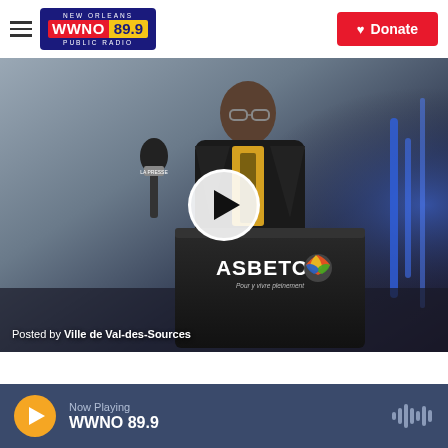[Figure (logo): WWNO 89.9 New Orleans Public Radio logo with red WWNO and yellow 89.9 on dark blue background]
[Figure (photo): A man in a dark suit speaking at a podium with Asbestos/Val-des-Sources branding, with a play button overlay. Caption reads: Posted by Ville de Val-des-Sources]
Posted by Ville de Val-des-Sources
Now Playing
WWNO 89.9